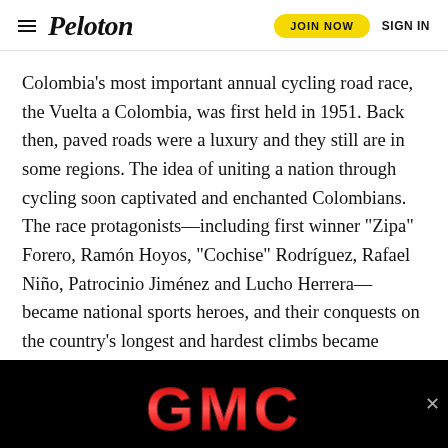Peloton | JOIN NOW | SIGN IN
Colombia's most important annual cycling road race, the Vuelta a Colombia, was first held in 1951. Back then, paved roads were a luxury and they still are in some regions. The idea of uniting a nation through cycling soon captivated and enchanted Colombians. The race protagonists—including first winner “Zipa” Forero, Ramón Hoyos, “Cochise” Rodríguez, Rafael Niño, Patrocinio Jiménez and Lucho Herrera—became national sports heroes, and their conquests on the country's longest and hardest climbs became legends. The names of mountain passes such as Mina, Letras, La Línea, Boqueron, El Trigo and El Vino became as mythical as Europe's Galibier, Alpe d´Huez, Izoard, Stelvio and Gavia. A local chronicler once said that to understand one of the reasons Colombia you had to c…
[Figure (other): GMC advertisement banner overlay at bottom of page]